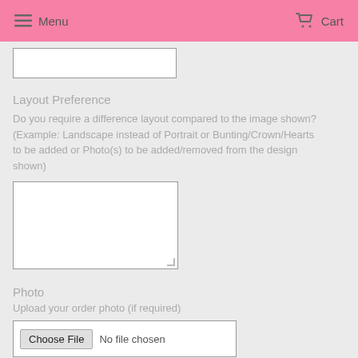≡ Menu   🛒 Cart
[Figure (screenshot): Empty white text input box (top, partially visible)]
Layout Preference
Do you require a difference layout compared to the image shown? (Example: Landscape instead of Portrait or Bunting/Crown/Hearts to be added or Photo(s) to be added/removed from the design shown)
[Figure (screenshot): Empty white textarea for layout preference input]
Photo
Upload your order photo (if required)
[Figure (screenshot): File input area with Choose File button and 'No file chosen' text]